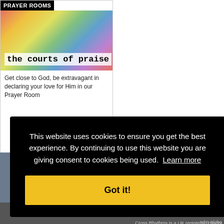PRAYER ROOMS
[Figure (photo): Colorful image of raised hands with rainbow colors, overlaid with bold monospace text 'the courts of praise']
Get close to God, be extravagant in declaring your love for Him in our Prayer Room
[Figure (photo): Gray/blue-gray rectangular image block]
This website uses cookies to ensure you get the best experience. By continuing to use this website you are giving consent to cookies being used. Learn more
Got it!